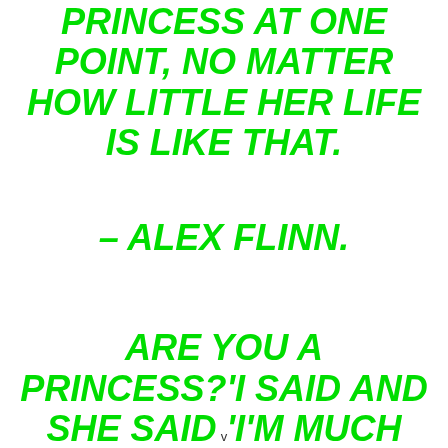PRINCESS AT ONE POINT, NO MATTER HOW LITTLE HER LIFE IS LIKE THAT.
– ALEX FLINN.
ARE YOU A PRINCESS?'I SAID AND SHE SAID 'I'M MUCH MORE THAN A
v